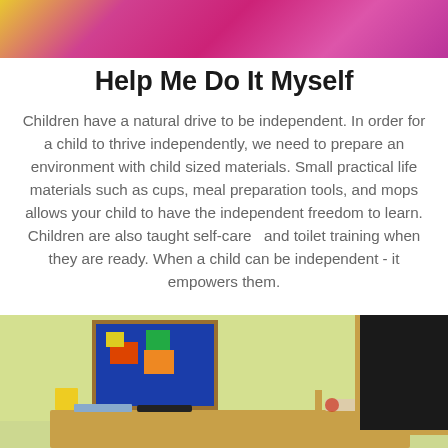[Figure (photo): Top portion of a photo showing children in bright pink/colorful clothing outdoors]
Help Me Do It Myself
Children have a natural drive to be independent. In order for a child to thrive independently, we need to prepare an environment with child sized materials. Small practical life materials such as cups, meal preparation tools, and mops allows your child to have the independent freedom to learn. Children are also taught self-care  and toilet training when they are ready. When a child can be independent - it empowers them.
[Figure (photo): A Montessori-style classroom with a wooden desk/shelf, a colorful framed artwork on the left, small classroom materials on the desk, and a blackboard on the right. Yellow-green walls in background.]